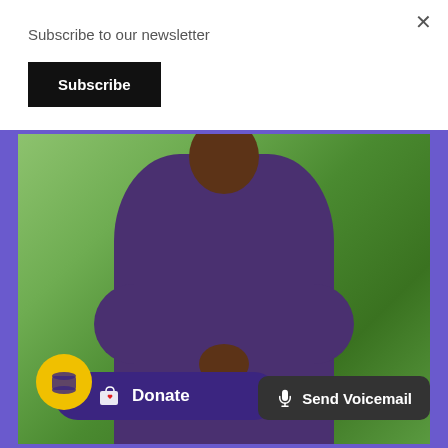Subscribe to our newsletter
×
Subscribe
[Figure (photo): A woman wearing a sparkly purple knit cardigan over a purple dress, with a pearl necklace, standing outdoors on a green lawn with trees and a pathway in the background.]
Donate
Send Voicemail